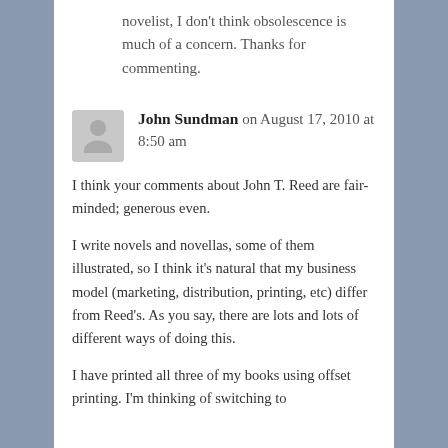novelist, I don't think obsolescence is much of a concern. Thanks for commenting.
John Sundman on August 17, 2010 at 8:50 am
I think your comments about John T. Reed are fair-minded; generous even.
I write novels and novellas, some of them illustrated, so I think it's natural that my business model (marketing, distribution, printing, etc) differ from Reed's. As you say, there are lots and lots of different ways of doing this.
I have printed all three of my books using offset printing. I'm thinking of switching to